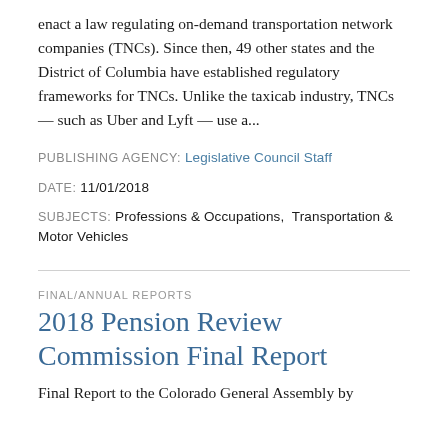enact a law regulating on-demand transportation network companies (TNCs).  Since then, 49 other states and the District of Columbia have established regulatory frameworks for TNCs.  Unlike the taxicab industry, TNCs — such as Uber and Lyft — use a...
PUBLISHING AGENCY: Legislative Council Staff
DATE: 11/01/2018
SUBJECTS: Professions & Occupations,  Transportation & Motor Vehicles
FINAL/ANNUAL REPORTS
2018 Pension Review Commission Final Report
Final Report to the Colorado General Assembly by